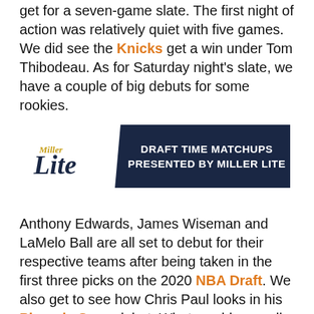get for a seven-game slate. The first night of action was relatively quiet with five games. We did see the Knicks get a win under Tom Thibodeau. As for Saturday night's slate, we have a couple of big debuts for some rookies.
[Figure (logo): Draft Time Matchups presented by Miller Lite banner with Miller Lite logo on white background and navy blue angled panel with white bold text]
Anthony Edwards, James Wiseman and LaMelo Ball are all set to debut for their respective teams after being taken in the first three picks on the 2020 NBA Draft. We also get to see how Chris Paul looks in his Phoenix Suns debut. What would normally be a marquee matchup of the two favorites for MVP,